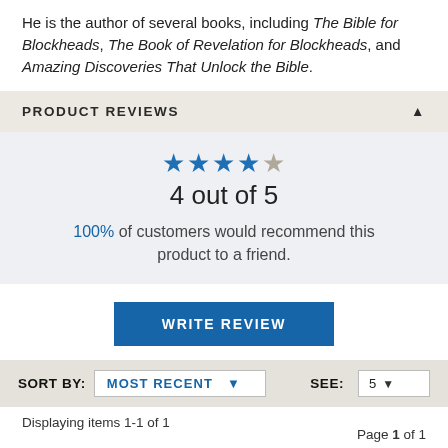He is the author of several books, including The Bible for Blockheads, The Book of Revelation for Blockheads, and Amazing Discoveries That Unlock the Bible.
PRODUCT REVIEWS
4 out of 5
100% of customers would recommend this product to a friend.
WRITE REVIEW
SORT BY: MOST RECENT   SEE: 5
Displaying items 1-1 of 1
Page 1 of 1